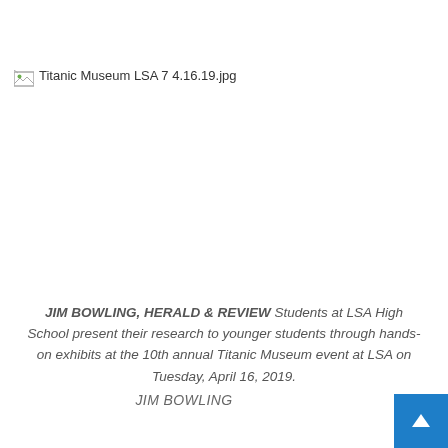[Figure (photo): Broken/missing image placeholder showing filename 'Titanic Museum LSA 7 4.16.19.jpg']
JIM BOWLING, HERALD & REVIEW Students at LSA High School present their research to younger students through hands-on exhibits at the 10th annual Titanic Museum event at LSA on Tuesday, April 16, 2019.
JIM BOWLING